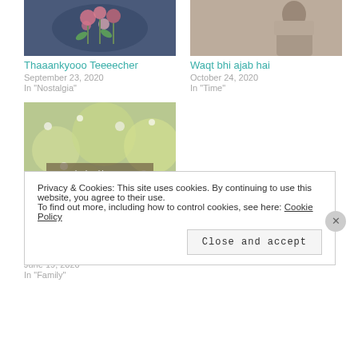[Figure (photo): Thumbnail image with floral design on dark blue background for 'Thaaankyooo Teeeecher' post]
[Figure (photo): Thumbnail image showing person in grey clothing for 'Waqt bhi ajab hai' post]
Thaaankyooo Teeeecher
September 23, 2020
In "Nostalgia"
Waqt bhi ajab hai
October 24, 2020
In "Time"
[Figure (photo): Thumbnail image with flowers/nature background and overlay text 'Wo Khud Rukhsat Hogaya']
Wo Khud Rukhsat Hogaya
June 19, 2020
In "Family"
Privacy & Cookies: This site uses cookies. By continuing to use this website, you agree to their use.
To find out more, including how to control cookies, see here: Cookie Policy
Close and accept